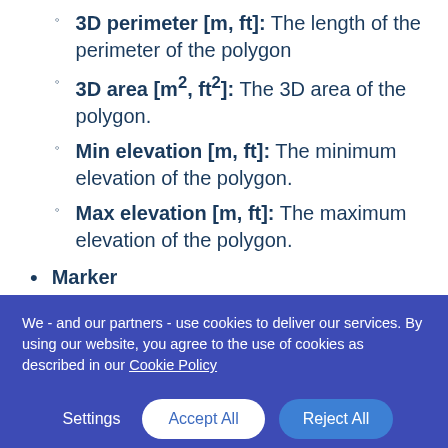3D perimeter [m, ft]: The length of the perimeter of the polygon
3D area [m2, ft2]: The 3D area of the polygon.
Min elevation [m, ft]: The minimum elevation of the polygon.
Max elevation [m, ft]: The maximum elevation of the polygon.
Marker
Easting [m, ft]: The easting
We - and our partners - use cookies to deliver our services. By using our website, you agree to the use of cookies as described in our Cookie Policy
Settings  Accept All  Reject All